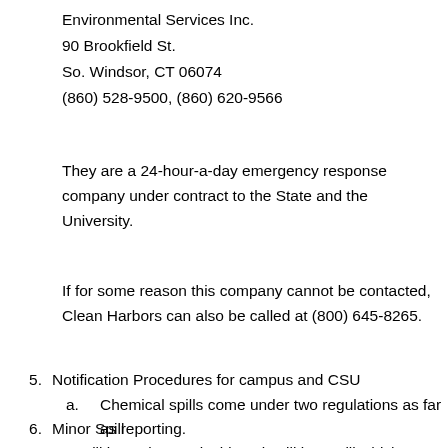Environmental Services Inc.
90 Brookfield St.
So. Windsor, CT 06074
(860) 528-9500, (860) 620-9566
They are a 24-hour-a-day emergency response company under contract to the State and the University.
If for some reason this company cannot be contacted, Clean Harbors can also be called at (800) 645-8265.
5. Notification Procedures for campus and CSU
a. Chemical spills come under two regulations as far as reporting.
6. Minor Spill
a. A spill is a minor, or incidental spill is a spill which